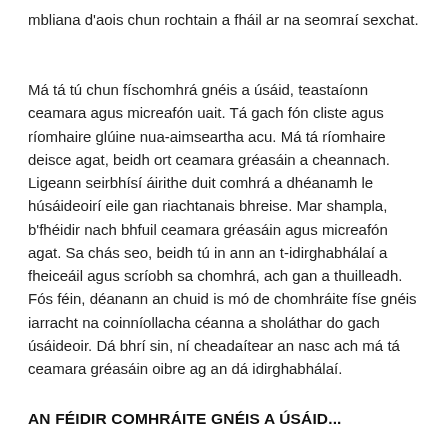mbliana d'aois chun rochtain a fháil ar na seomraí sexchat.
Má tá tú chun físchomhrá gnéis a úsáid, teastaíonn ceamara agus micreafón uait. Tá gach fón cliste agusríomhaire glúine nua-aimseartha acu. Má tá ríomhaire deisce agat, beidh ort ceamara gréasáin a cheannach. Ligeann seirbhísí áirithe duit comhrá a dhéanamh le húsáideoirí eile gan riachtanais bhreise. Mar shampla, b'fhéidir nach bhfuil ceamara gréasáin agus micreafón agat. Sa chás seo, beidh tú in ann an t-idirghabhálaí a fheiceáil agus scríobh sa chomhrá, ach gan a thuilleadh. Fós féin, déanann an chuid is mó de chomhráite físe gnéis iarracht na coinníollacha céanna a sholáthar do gach úsáideoir. Dá bhrí sin, ní cheadaítear an nasc ach má tá ceamara gréasáin oibre ag an dá idirghabhálaí.
AN FÉIDIR COMHRÁITE GNÉIS A ÚSÁID...